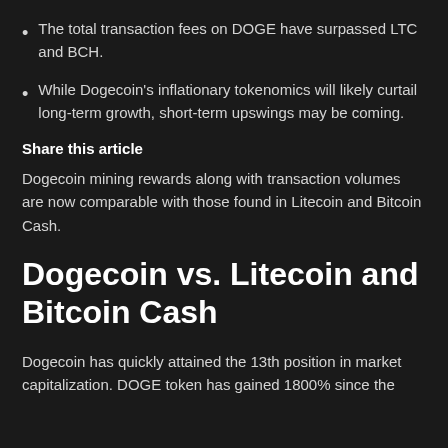The total transaction fees on DOGE have surpassed LTC and BCH.
While Dogecoin's inflationary tokenomics will likely curtail long-term growth, short-term upswings may be coming.
Share this article
Dogecoin mining rewards along with transaction volumes are now comparable with those found in Litecoin and Bitcoin Cash.
Dogecoin vs. Litecoin and Bitcoin Cash
Dogecoin has quickly attained the 13th position in market capitalization. DOGE token has gained 1800% since the